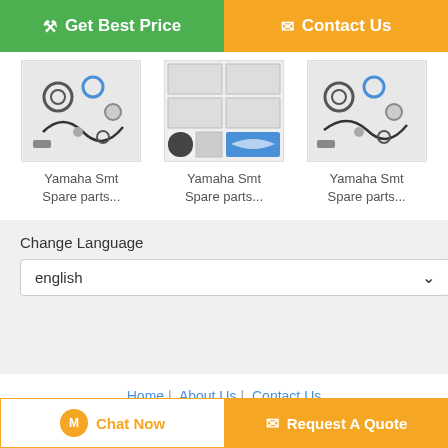[Figure (screenshot): Get Best Price button (green) and Contact Us button (orange) at top]
[Figure (photo): Yamaha Smt Spare parts product image 1]
Yamaha Smt Spare parts...
[Figure (photo): Yamaha Smt Spare parts product image 2]
Yamaha Smt Spare parts...
[Figure (photo): Yamaha Smt Spare parts product image 3]
Yamaha Smt Spare parts...
Change Language
english
Home | About Us | Contact Us
Desktop View
China emergency stop button Supplier. Copyright © 2016 - 2022 pingyousmtparts.com. All rights reserved. Developed by ECER
[Figure (screenshot): Chat Now button and Request A Quote button at bottom]